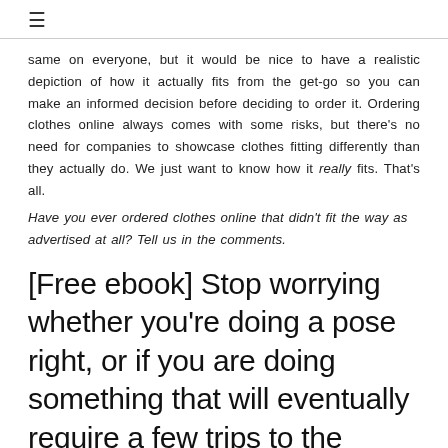≡
same on everyone, but it would be nice to have a realistic depiction of how it actually fits from the get-go so you can make an informed decision before deciding to order it. Ordering clothes online always comes with some risks, but there's no need for companies to showcase clothes fitting differently than they actually do. We just want to know how it really fits. That's all.
Have you ever ordered clothes online that didn't fit the way as advertised at all? Tell us in the comments.
[Free ebook] Stop worrying whether you're doing a pose right, or if you are doing something that will eventually require a few trips to the emergency room. 🚑